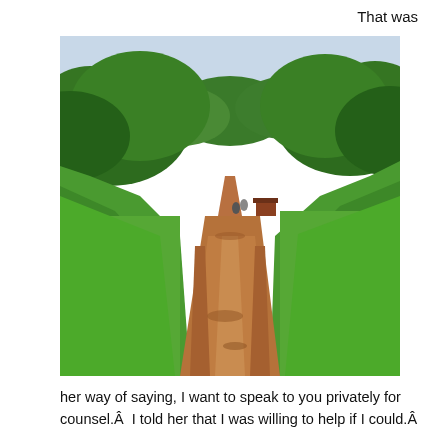That was
[Figure (photo): A rural dirt road winding through lush green vegetation and trees, with two small figures visible in the distance on the path. The sky is overcast and light-colored above the tree canopy.]
her way of saying, I want to speak to you privately for counsel.Â  I told her that I was willing to help if I could.Â